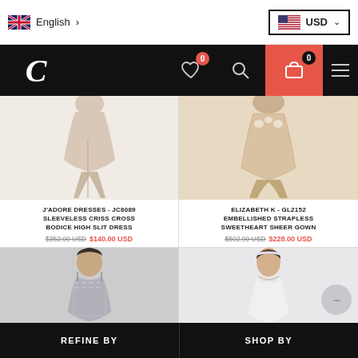English | USD
[Figure (screenshot): Website navigation bar with logo C, heart/wishlist icon (0), search icon, cart icon (0), hamburger menu]
[Figure (photo): J'Adore Dresses JC8089 - sleeveless criss cross bodice high slit dress in beige/blush tone]
[Figure (photo): Elizabeth K GL2152 - embellished strapless sweetheart sheer gown in champagne/nude tone]
J'ADORE DRESSES - JC8089 SLEEVELESS CRISS CROSS BODICE HIGH SLIT DRESS $352.00 USD $140.00 USD
ELIZABETH K - GL2152 EMBELLISHED STRAPLESS SWEETHEART SHEER GOWN $502.00 USD $228.00 USD
[Figure (photo): Bottom left product - silver/sequin halter dress on model]
[Figure (photo): Bottom right product - white lace gown on model with headband]
REFINE BY | SHOP BY